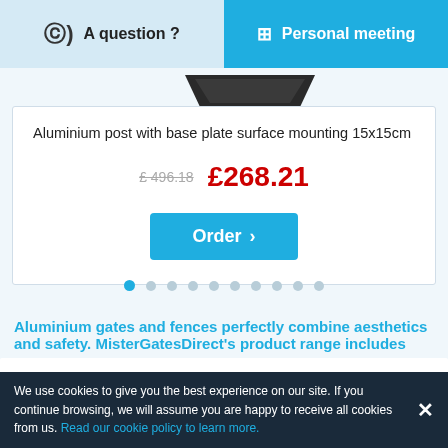A question ? | Personal meeting
[Figure (photo): Partial view of a dark aluminium post/plate product image at the top of the card]
Aluminium post with base plate surface mounting 15x15cm
£496.18  £268.21
Order
Aluminium gates and fences perfectly combine aesthetics and safety. MisterGatesDirect's product range includes
£3,001.69
We use cookies to give you the best experience on our site. If you continue browsing, we will assume you are happy to receive all cookies from us. Read our cookie policy to learn more.